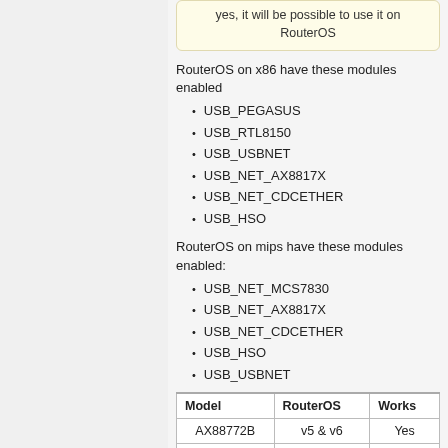yes, it will be possible to use it on RouterOS
RouterOS on x86 have these modules enabled
USB_PEGASUS
USB_RTL8150
USB_USBNET
USB_NET_AX8817X
USB_NET_CDCETHER
USB_HSO
RouterOS on mips have these modules enabled:
USB_NET_MCS7830
USB_NET_AX8817X
USB_NET_CDCETHER
USB_HSO
USB_USBNET
| Model | RouterOS | Works |
| --- | --- | --- |
| AX88772B | v5 & v6 | Yes |
| UA0025C | v5 & v6 | Yes |